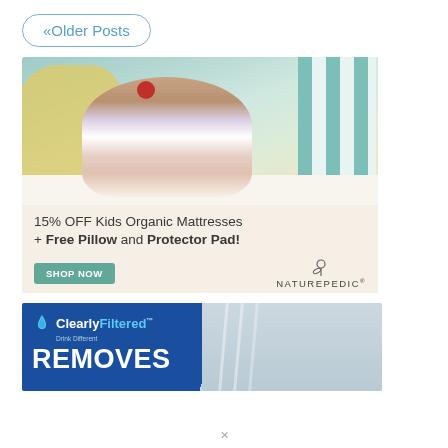«Older Posts
[Figure (illustration): Naturepedic advertisement showing a child reading a book on a mattress with pillows. Text reads: 15% OFF Kids Organic Mattresses + Free Pillow and Protector Pad! SHOP NOW. Naturepedic logo.]
[Figure (illustration): Clearly Filtered advertisement with blue background and logo. Text reads: ClearlyFiltered Drink Different REMOVES]